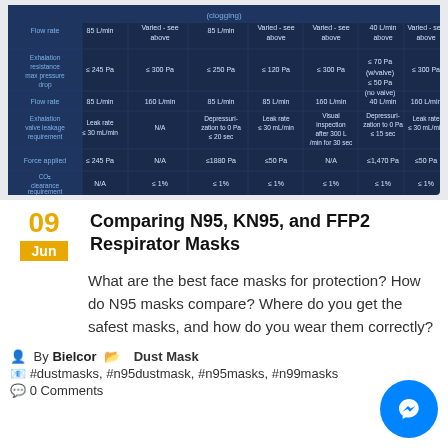[Figure (screenshot): Screenshot of a comparison table for respirator masks (N95, KN95, FFP2) showing rows for flow rate, exhalation resistance, exhalation valve leakage, force applied, and CO2 clearance requirement against multiple standards columns.]
Comparing N95, KN95, and FFP2 Respirator Masks
What are the best face masks for protection? How do N95 masks compare? Where do you get the safest masks, and how do you wear them correctly?
By Bielcor  Dust Mask
#dustmasks, #n95dustmask, #n95masks, #n99masks
0 Comments